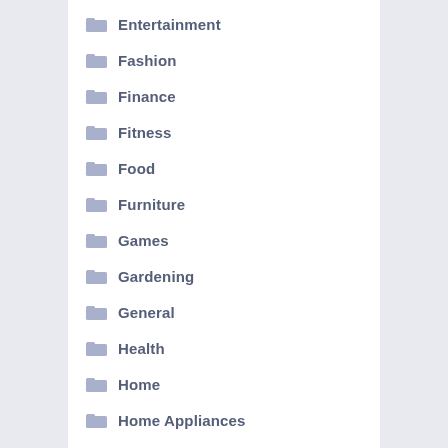Entertainment
Fashion
Finance
Fitness
Food
Furniture
Games
Gardening
General
Health
Home
Home Appliances